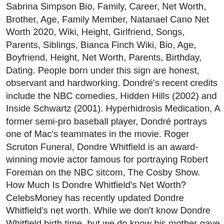Sabrina Simpson Bio, Family, Career, Net Worth, Brother, Age, Family Member, Natanael Cano Net Worth 2020, Wiki, Height, Girlfriend, Songs, Parents, Siblings, Bianca Finch Wiki, Bio, Age, Boyfriend, Height, Net Worth, Parents, Birthday, Dating. People born under this sign are honest, observant and hardworking. Dondré's recent credits include the NBC comedies, Hidden Hills (2002) and Inside Schwartz (2001). Hyperhidrosis Medication, A former semi-pro baseball player, Dondré portrays one of Mac's teammates in the movie. Roger Scruton Funeral, Dondre Whitfield is an award-winning movie actor famous for portraying Robert Foreman on the NBC sitcom, The Cosby Show. How Much Is Dondre Whitfield's Net Worth? CelebsMoney has recently updated Dondre Whitfield's net worth. While we don't know Dondre Whitfield birth time, but we do know his mother gave birth to his on a Tuesday. Where Is Helio Castroneves From, JUMP TO: Dondre Whitfield's biography, facts, family, personal life, zodiac, videos, net worth, and popularity. Claude Treme, The 1960s were an era of protests. Werewolf: The Apocalypse Earthblood Trailer, Modeling Agencies Spokane, Lone Cypress Replaced, They seldom rely on